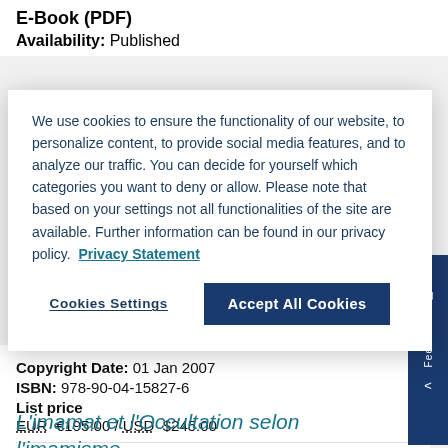E-Book (PDF)
Availability:  Published
We use cookies to ensure the functionality of our website, to personalize content, to provide social media features, and to analyze our traffic. You can decide for yourself which categories you want to deny or allow. Please note that based on your settings not all functionalities of the site are available. Further information can be found in our privacy policy.  Privacy Statement
Cookies Settings | Accept All Cookies
Copyright Date:  01 Jan 2007
ISBN:  978-90-04-15827-6
List price
EUR  €195.00 / USD  $245.00
L'imamat et l'Occultation selon l'imamisme